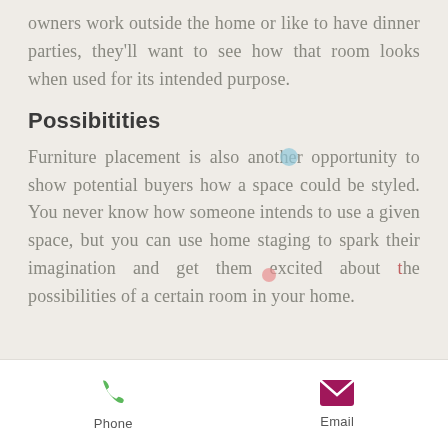owners work outside the home or like to have dinner parties, they'll want to see how that room looks when used for its intended purpose.
Possibilities
Furniture placement is also another opportunity to show potential buyers how a space could be styled. You never know how someone intends to use a given space, but you can use home staging to spark their imagination and get them excited about the possibilities of a certain room in your home.
Phone  Email